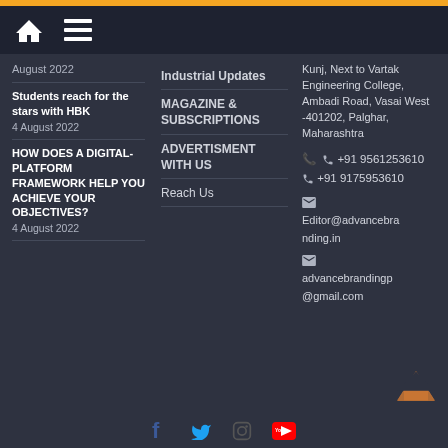Navigation bar with home and menu icons
August 2022
Students reach for the stars with HBK 4 August 2022
HOW DOES A DIGITAL-PLATFORM FRAMEWORK HELP YOU ACHIEVE YOUR OBJECTIVES? 4 August 2022
Industrial Updates
MAGAZINE & SUBSCRIPTIONS
ADVERTISMENT WITH US
Reach Us
Kunj, Next to Vartak Engineering College, Ambadi Road, Vasai West -401202, Palghar, Maharashtra
+91 9561253610
+91 9175953610
Editor@advancebranding.in
advancebrandingp@gmail.com